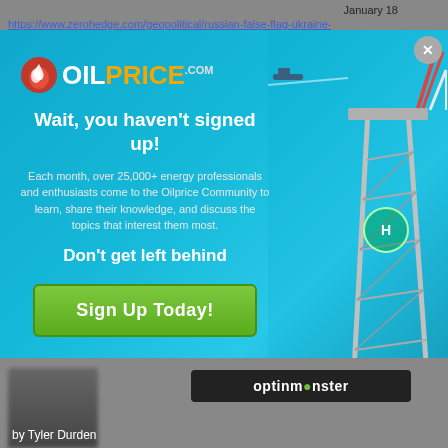January 18
https://www.zerohedge.com/geopolitical/russian-false-flag-ukraine-
[Figure (screenshot): OilPrice.com signup popup modal over a teal ocean background with an oil rig on the right side. Contains logo, headline 'Wait, you haven't signed up!', body text, subheadline 'Don't get left behind', and a green 'Sign Up Today!' button. A close X button is in the top right corner.]
[Figure (logo): OptinMonster badge/logo in dark background]
by Tyler Durden